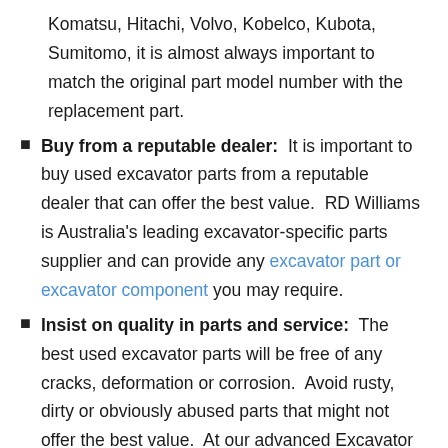Komatsu, Hitachi, Volvo, Kobelco, Kubota, Sumitomo, it is almost always important to match the original part model number with the replacement part.
Buy from a reputable dealer: It is important to buy used excavator parts from a reputable dealer that can offer the best value. RD Williams is Australia's leading excavator-specific parts supplier and can provide any excavator part or excavator component you may require.
Insist on quality in parts and service: The best used excavator parts will be free of any cracks, deformation or corrosion. Avoid rusty, dirty or obviously abused parts that might not offer the best value. At our advanced Excavator Parts Workshop,